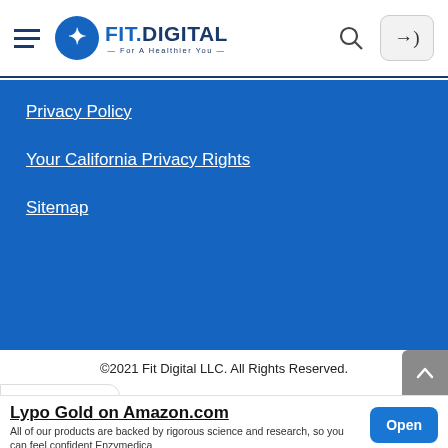FIT.DIGITAL — For A Healthier You
Privacy Policy
Your California Privacy Rights
Sitemap
©2021 Fit Digital LLC. All Rights Reserved.
[Figure (screenshot): Advertisement banner: Lypo Gold on Amazon.com with Open button]